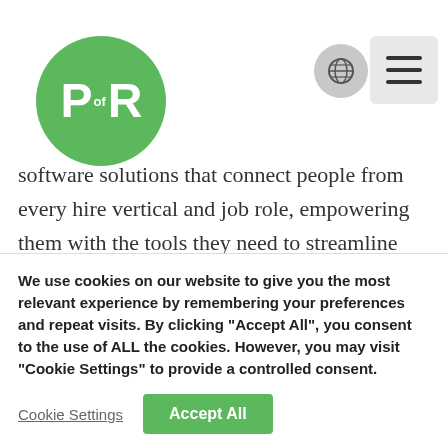[Figure (logo): Point of Rental logo — green circle with white 'P of R' text]
software solutions that connect people from every hire vertical and job role, empowering them with the tools they need to streamline operations and grow strategically. For more than 35 years, Point of Rental has led industry innovation, earning dozens of innovation and service awards for hire software. As a four-time Inc 5000 fastest-growing…
We use cookies on our website to give you the most relevant experience by remembering your preferences and repeat visits. By clicking "Accept All", you consent to the use of ALL the cookies. However, you may visit "Cookie Settings" to provide a controlled consent.
Cookie Settings | Accept All